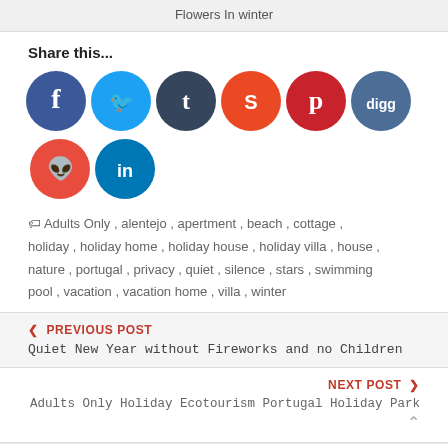Flowers In winter
Share this...
[Figure (other): Row of 8 social media icon circles: Facebook (dark blue), Twitter (light blue), Tumblr (dark blue), StumbleUpon (orange), Pinterest (red), Digg (blue-grey), Reddit (red), LinkedIn (blue)]
Adults Only, alentejo, apertment, beach, cottage, holiday, holiday home, holiday house, holiday villa, house, nature, portugal, privacy, quiet, silence, stars, swimming pool, vacation, vacation home, villa, winter
PREVIOUS POST
Quiet New Year without Fireworks and no Children
NEXT POST
Adults Only Holiday Ecotourism Portugal Holiday Park
About admin